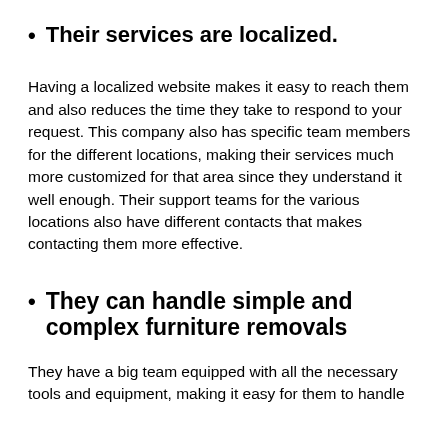Their services are localized.
Having a localized website makes it easy to reach them and also reduces the time they take to respond to your request. This company also has specific team members for the different locations, making their services much more customized for that area since they understand it well enough. Their support teams for the various locations also have different contacts that makes contacting them more effective.
They can handle simple and complex furniture removals
They have a big team equipped with all the necessary tools and equipment, making it easy for them to handle